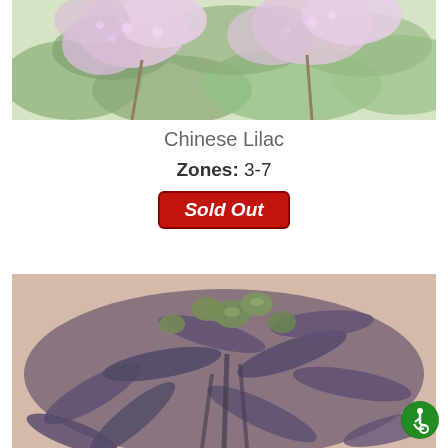[Figure (photo): Close-up photo of Chinese Lilac flowers — small pink/lavender blooms with green leaves in background]
Chinese Lilac
Zones: 3-7
Sold Out
[Figure (photo): Close-up photo of a plant with dark purple-green elongated leaves and green buds/berries]